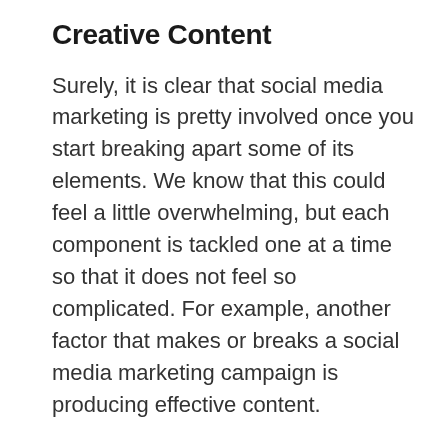Creative Content
Surely, it is clear that social media marketing is pretty involved once you start breaking apart some of its elements. We know that this could feel a little overwhelming, but each component is tackled one at a time so that it does not feel so complicated. For example, another factor that makes or breaks a social media marketing campaign is producing effective content.
You have all of these social media accounts to juggle, and you are reaching the customers that might want your services or products, but you need to